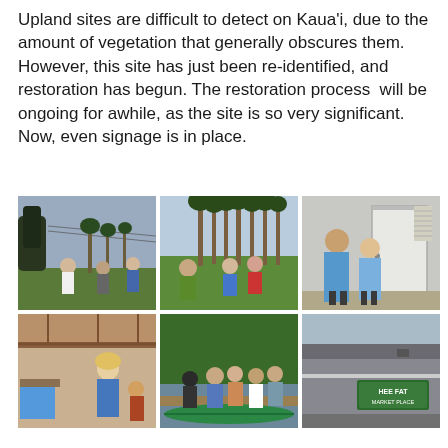Upland sites are difficult to detect on Kaua'i, due to the amount of vegetation that generally obscures them. However, this site has just been re-identified, and restoration has begun. The restoration process  will be ongoing for awhile, as the site is so very significant. Now, even signage is in place.
[Figure (photo): Six photographs arranged in a 2x3 grid. Top row left: group of people standing outdoors with palm trees and overcast sky. Top row center: people walking on green grass with tall palm trees in background. Top row right: two women posing indoors in front of a door. Bottom row left: woman presenting indoors under a covered area. Bottom row center: group of people standing by a river or waterway with a green canoe. Bottom row right: exterior sign reading HEE FAT MARKET PLACE on a building.]